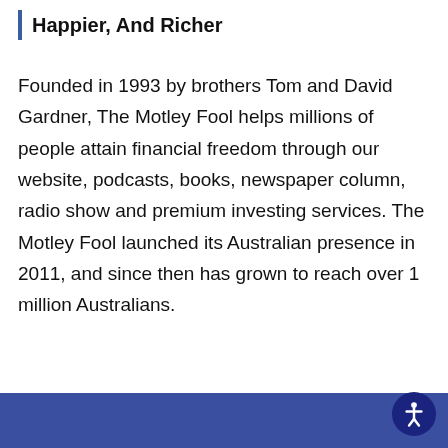Happier, And Richer
Founded in 1993 by brothers Tom and David Gardner, The Motley Fool helps millions of people attain financial freedom through our website, podcasts, books, newspaper column, radio show and premium investing services. The Motley Fool launched its Australian presence in 2011, and since then has grown to reach over 1 million Australians.
Read more about us >